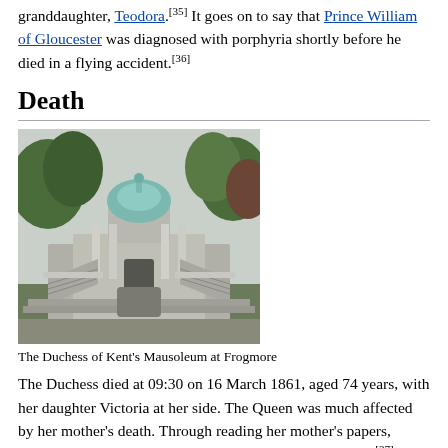granddaughter, Teodora.[35] It goes on to say that Prince William of Gloucester was diagnosed with porphyria shortly before he died in a flying accident.[36]
Death
[Figure (photo): Photograph of the Duchess of Kent's Mausoleum at Frogmore — a stone neoclassical domed building with wide curved staircases and green trees in the background.]
The Duchess of Kent's Mausoleum at Frogmore
The Duchess died at 09:30 on 16 March 1861, aged 74 years, with her daughter Victoria at her side. The Queen was much affected by her mother's death. Through reading her mother's papers, Victoria discovered that her mother had loved her deeply;[37] she was heart-